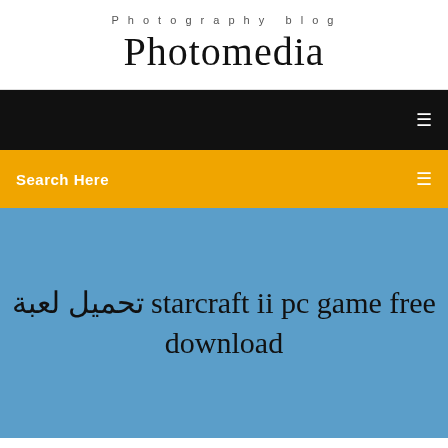Photography blog
Photomedia
Search Here
تحميل لعبة starcraft ii pc game free download